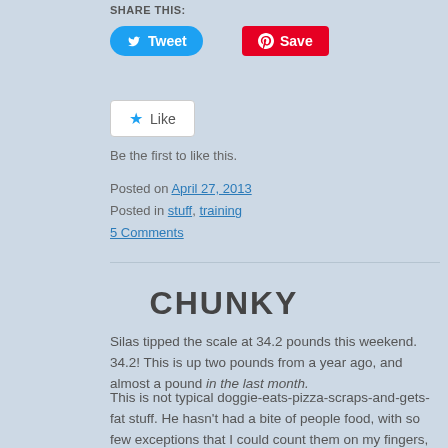SHARE THIS:
[Figure (other): Tweet button (Twitter/X blue rounded button) and Save button (Pinterest red button)]
[Figure (other): Like button with star icon in white rounded box]
Be the first to like this.
Posted on April 27, 2013
Posted in stuff, training
5 Comments
CHUNKY
Silas tipped the scale at 34.2 pounds this weekend. 34.2! This is up two pounds from a year ago, and almost a pound in the last month.
This is not typical doggie-eats-pizza-scraps-and-gets-fat stuff. He hasn't had a bite of people food, with so few exceptions that I could count them on my fingers, since probably February.